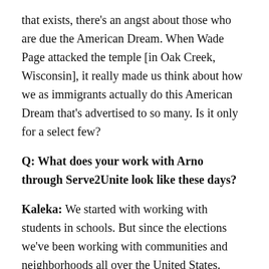that exists, there's an angst about those who are due the American Dream. When Wade Page attacked the temple [in Oak Creek, Wisconsin], it really made us think about how we as immigrants actually do this American Dream that's advertised to so many. Is it only for a select few?
Q: What does your work with Arno through Serve2Unite look like these days?
Kaleka: We started with working with students in schools. But since the elections we've been working with communities and neighborhoods all over the United States.
Hate crimes have escalated over the last three